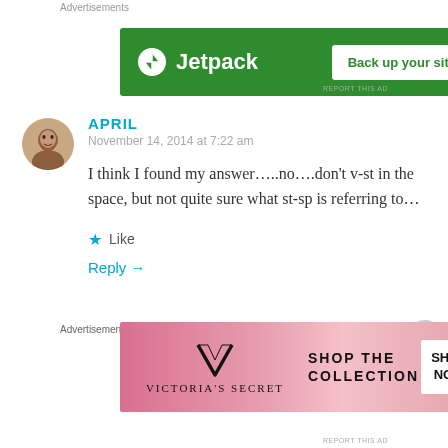Advertisements
[Figure (screenshot): Jetpack advertisement banner with green background showing Jetpack logo and 'Back up your site' button]
REPORT THIS AD
APRIL
November 14, 2014 at 7:22 am
I think I found my answer…..no….don't v-st in the space, but not quite sure what st-sp is referring to…
Like
Reply →
Advertisements
[Figure (screenshot): Victoria's Secret advertisement banner with pink background showing VS logo and 'SHOP THE COLLECTION / SHOP NOW' button]